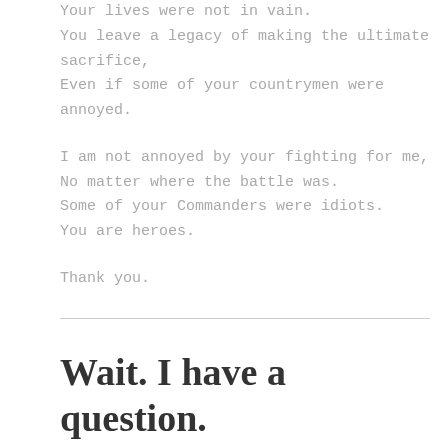Your lives were not in vain.
You leave a legacy of making the ultimate sacrifice,
Even if some of your countrymen were annoyed.

I am not annoyed by your fighting for me,
No matter where the battle was.
Some of your Commanders were idiots.
You are heroes.

Thank you.
Wait. I have a question.
MAY 23, 2013 ~ KJGILHOOLY ~ LEAVE A COMMENT